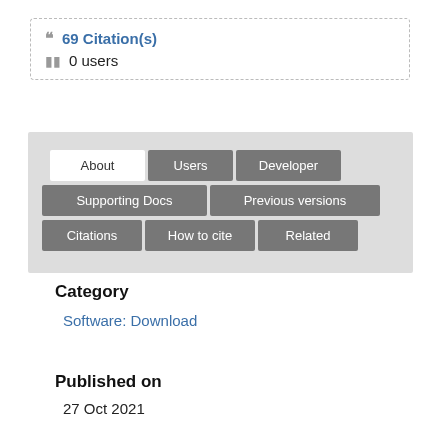69 Citation(s)
0 users
[Figure (screenshot): Tab navigation UI with tabs: About (white/active), Users, Developer, Supporting Docs, Previous versions, Citations, How to cite, Related]
Category
Software: Download
Published on
27 Oct 2021